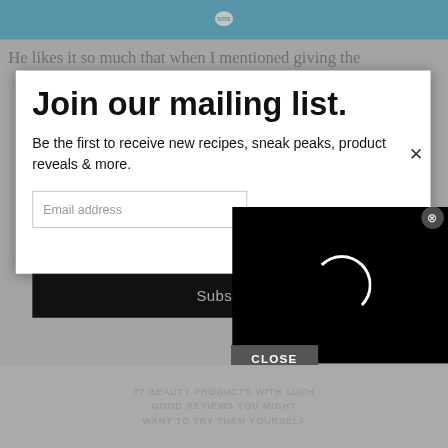[Figure (logo): SMS logo icon in white on blue header bar]
He likes it so much that when I mentioned giving the
[Figure (screenshot): Modal popup overlay with mailing list signup form. Title: 'Join our mailing list.' Description: 'Be the first to receive new recipes, sneak peaks, product reveals & more.' Email address input field and Subscribe button. A video loading spinner overlay appears on the right side with a CLOSE button.]
37 BEAUTY PRODUCTS WITH SUCH GOOD REVIEWS YOU MIGHT WANT TO TRY THEM YOURSELF